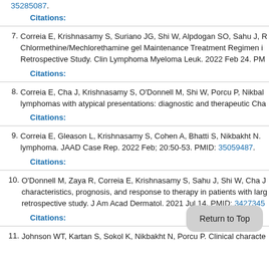35285087.
Citations:
7. Correia E, Krishnasamy S, Suriano JG, Shi W, Alpdogan SO, Sahu J, R... Chlormethine/Mechlorethamine gel Maintenance Treatment Regimen i... Retrospective Study. Clin Lymphoma Myeloma Leuk. 2022 Feb 24. PM...
Citations:
8. Correia E, Cha J, Krishnasamy S, O'Donnell M, Shi W, Porcu P, Nikbal... lymphomas with atypical presentations: diagnostic and therapeutic Cha...
Citations:
9. Correia E, Gleason L, Krishnasamy S, Cohen A, Bhatti S, Nikbakht N. ... lymphoma. JAAD Case Rep. 2022 Feb; 20:50-53. PMID: 35059487.
Citations:
10. O'Donnell M, Zaya R, Correia E, Krishnasamy S, Sahu J, Shi W, Cha J... characteristics, prognosis, and response to therapy in patients with larg... retrospective study. J Am Acad Dermatol. 2021 Jul 14. PMID: 3427345...
Citations:
11. Johnson WT, Kartan S, Sokol K, Nikbakht N, Porcu P. Clinical characte...